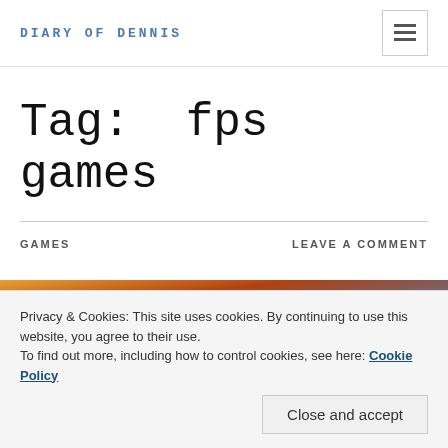DIARY OF DENNIS
Tag: fps games
GAMES
LEAVE A COMMENT
[Figure (photo): Action game screenshot showing explosions and battlefield scene]
Privacy & Cookies: This site uses cookies. By continuing to use this website, you agree to their use.
To find out more, including how to control cookies, see here: Cookie Policy
Close and accept